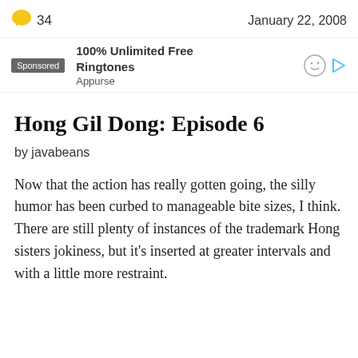34   January 22, 2008
[Figure (other): Sponsored advertisement: 100% Unlimited Free Ringtones by Appurse, with smiley face and play button icons]
Hong Gil Dong: Episode 6
by javabeans
Now that the action has really gotten going, the silly humor has been curbed to manageable bite sizes, I think. There are still plenty of instances of the trademark Hong sisters jokiness, but it’s inserted at greater intervals and with a little more restraint.